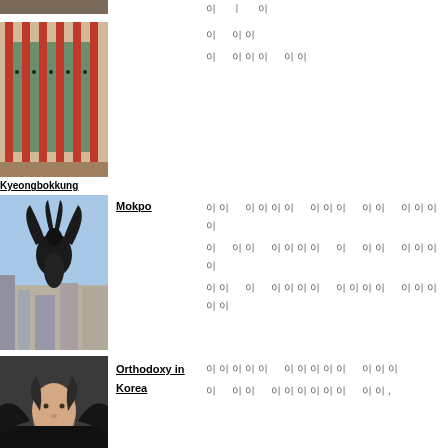[Figure (photo): Partial photo at top (Kyeongbokkung area), cropped]
[Figure (photo): Photo of Kyeongbokkung palace corridor with red columns and green doors]
Kyeongbokkung
Korean text lines (redacted glyphs) for Kyeongbokkung
[Figure (photo): Photo of a dark sculpture of a bird against city skyline - Mokpo]
Mokpo
Korean text lines (redacted glyphs) for Mokpo
[Figure (photo): Photo of elderly bearded man in dark robe - Orthodoxy in Korea]
Orthodoxy in Korea
Korean text lines (redacted glyphs) for Orthodoxy in Korea
[Figure (photo): Photo of tree branches against blue sky - Seoul]
Seoul
Korean text lines (redacted glyphs) for Seoul